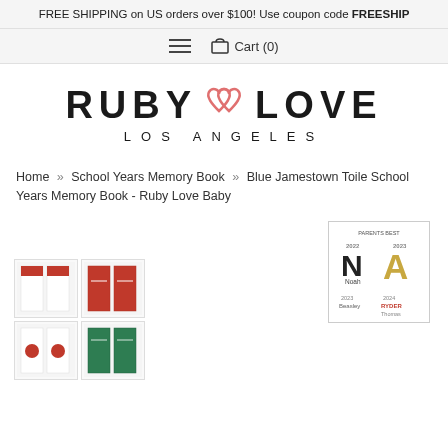FREE SHIPPING on US orders over $100! Use coupon code FREESHIP
Cart (0)
[Figure (logo): Ruby Love Los Angeles logo with two interlinked hearts in coral/salmon color between RUBY and LOVE text]
Home » School Years Memory Book » Blue Jamestown Toile School Years Memory Book - Ruby Love Baby
[Figure (other): Award badge showing multiple years (2022, 2023, 2024) with names Noah, Ryder, Thomas and a large A]
[Figure (other): Product thumbnail strip showing multiple school memory book covers in red, green, and white colors arranged in a 2x2 grid]